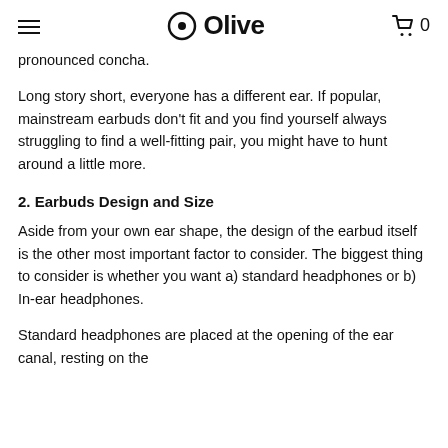Olive
pronounced concha.
Long story short, everyone has a different ear. If popular, mainstream earbuds don't fit and you find yourself always struggling to find a well-fitting pair, you might have to hunt around a little more.
2. Earbuds Design and Size
Aside from your own ear shape, the design of the earbud itself is the other most important factor to consider. The biggest thing to consider is whether you want a) standard headphones or b) In-ear headphones.
Standard headphones are placed at the opening of the ear canal, resting on the